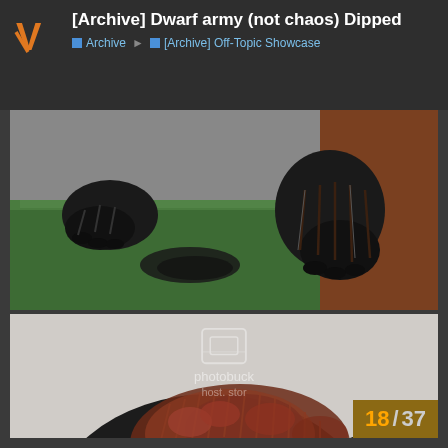[Archive] Dwarf army (not chaos) Dipped
Archive | [Archive] Off-Topic Showcase
[Figure (photo): Close-up photo of painted miniature bear/animal paws on a green base with a dark stain on the basing material]
[Figure (photo): Close-up photo of a painted dark miniature creature (bear or similar) with dark fur painted with reddish-brown highlights on the mane/back, with photobucket watermark and counter badge showing 18/37]